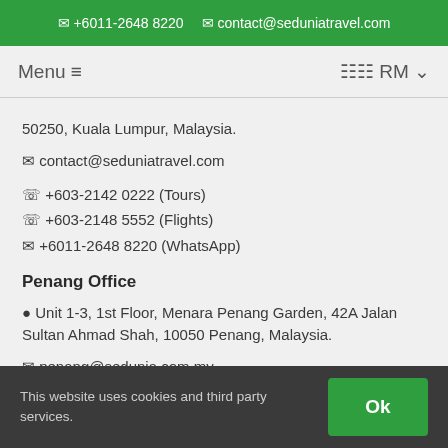+6011-2648 8220  contact@seduniatravel.com
Menu  RM
50250, Kuala Lumpur, Malaysia.
contact@seduniatravel.com
+603-2142 0222 (Tours)
+603-2148 5552 (Flights)
+6011-2648 8220 (WhatsApp)
Penang Office
Unit 1-3, 1st Floor, Menara Penang Garden, 42A Jalan Sultan Ahmad Shah, 10050 Penang, Malaysia.
penang@sedunia.com.my
+604-228 8088 (Tours & Flights)
This website uses cookies and third party services.